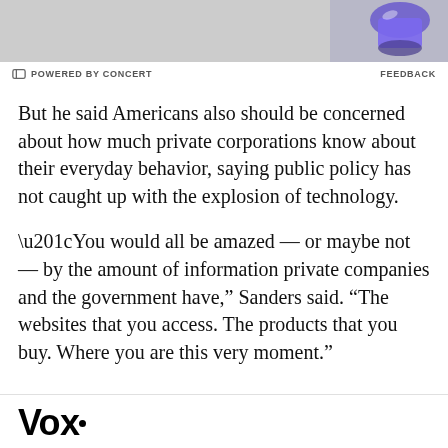[Figure (photo): Advertisement banner image showing a purple product on a light grey background]
⊖ POWERED BY CONCERT    FEEDBACK
But he said Americans also should be concerned about how much private corporations know about their everyday behavior, saying public policy has not caught up with the explosion of technology.
“You would all be amazed — or maybe not — by the amount of information private companies and the government have,” Sanders said. “The websites that you access. The products that you buy. Where you are this very moment.”
Vox